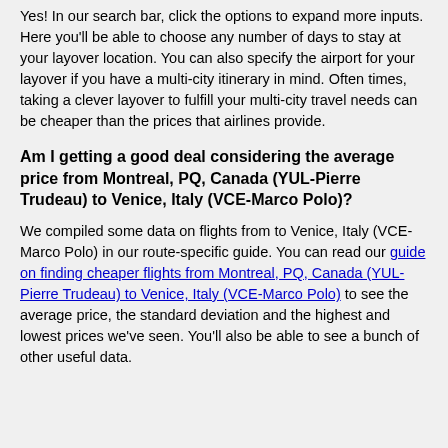Yes! In our search bar, click the options to expand more inputs. Here you'll be able to choose any number of days to stay at your layover location. You can also specify the airport for your layover if you have a multi-city itinerary in mind. Often times, taking a clever layover to fulfill your multi-city travel needs can be cheaper than the prices that airlines provide.
Am I getting a good deal considering the average price from Montreal, PQ, Canada (YUL-Pierre Trudeau) to Venice, Italy (VCE-Marco Polo)?
We compiled some data on flights from to Venice, Italy (VCE-Marco Polo) in our route-specific guide. You can read our guide on finding cheaper flights from Montreal, PQ, Canada (YUL-Pierre Trudeau) to Venice, Italy (VCE-Marco Polo) to see the average price, the standard deviation and the highest and lowest prices we've seen. You'll also be able to see a bunch of other useful data.